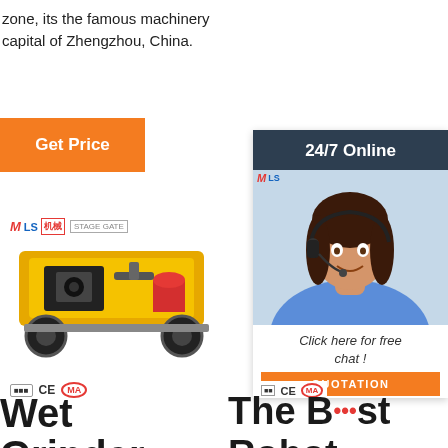zone, its the famous machinery capital of Zhengzhou, China.
[Figure (other): Orange 'Get Price' button]
[Figure (photo): Yellow industrial wet grinder machine with wheels and engine, with MLSmachine logo and CE/MA certifications]
[Figure (photo): 24/7 Online chat widget with woman wearing headset, dark header, 'Click here for free chat!' text and orange QUOTATION button]
Wet Grinder Online
The Best Robot Mops For